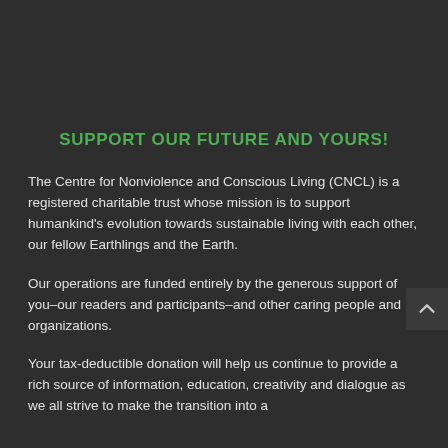SUPPORT OUR FUTURE AND YOURS!
The Centre for Nonviolence and Conscious Living (CNCL) is a registered charitable trust whose mission is to support humankind's evolution towards sustainable living with each other, our fellow Earthlings and the Earth.
Our operations are funded entirely by the generous support of you–our readers and participants–and other caring people and organizations.
Your tax-deductible donation will help us continue to provide a rich source of information, education, creativity and dialogue as we all strive to make the transition into a